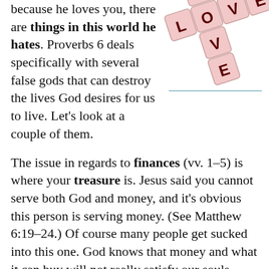because he loves you, there are things in this world he hates. Proverbs 6 deals specifically with several false gods that can destroy the lives God desires for us to live. Let’s look at a couple of them.
[Figure (photo): Scrabble tiles arranged to spell LOVE in a crossword style on a pink/light background]
The issue in regards to finances (vv. 1–5) is where your treasure is. Jesus said you cannot serve both God and money, and it’s obvious this person is serving money. (See Matthew 6:19–24.) Of course many people get sucked into this one. God knows that money and what it can buy will not really satisfy our souls. God wants something much better for us: a trusting